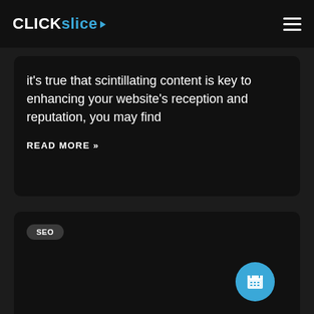CLICKslice
it's true that scintillating content is key to enhancing your website's reception and reputation, you may find
READ MORE »
SEO
[Figure (illustration): Circular blue calendar/schedule icon button in lower right area of second card]